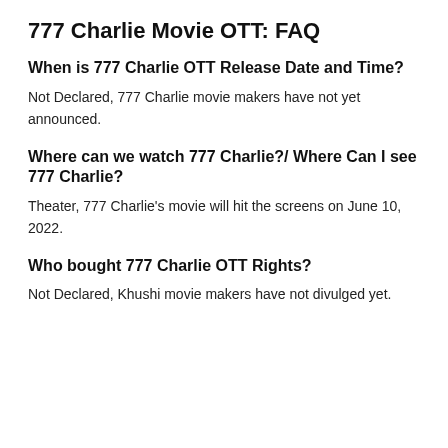777 Charlie Movie OTT: FAQ
When is 777 Charlie OTT Release Date and Time?
Not Declared, 777 Charlie movie makers have not yet announced.
Where can we watch 777 Charlie?/ Where Can I see 777 Charlie?
Theater, 777 Charlie's movie will hit the screens on June 10, 2022.
Who bought 777 Charlie OTT Rights?
Not Declared, Khushi movie makers have not divulged yet.